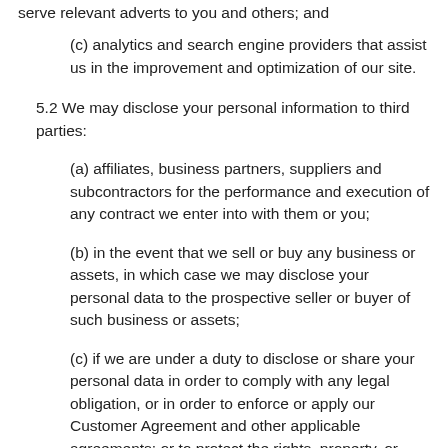serve relevant adverts to you and others; and
(c) analytics and search engine providers that assist us in the improvement and optimization of our site.
5.2 We may disclose your personal information to third parties:
(a) affiliates, business partners, suppliers and subcontractors for the performance and execution of any contract we enter into with them or you;
(b) in the event that we sell or buy any business or assets, in which case we may disclose your personal data to the prospective seller or buyer of such business or assets;
(c) if we are under a duty to disclose or share your personal data in order to comply with any legal obligation, or in order to enforce or apply our Customer Agreement and other applicable agreements; or to protect the rights, property, or safety of Levro,